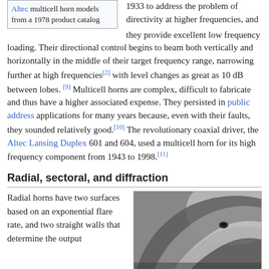Altec multicell horn models from a 1978 product catalog
1933 to address the problem of directivity at higher frequencies, and they provide excellent low frequency loading. Their directional control begins to beam both vertically and horizontally in the middle of their target frequency range, narrowing further at high frequencies[2] with level changes as great as 10 dB between lobes. [9] Multicell horns are complex, difficult to fabricate and thus have a higher associated expense. They persisted in public address applications for many years because, even with their faults, they sounded relatively good.[10] The revolutionary coaxial driver, the Altec Lansing Duplex 601 and 604, used a multicell horn for its high frequency component from 1943 to 1998.[11]
Radial, sectoral, and diffraction
Radial horns have two surfaces based on an exponential flare rate, and two straight walls that determine the output
[Figure (photo): Black and white photograph of a horn speaker component, showing a smooth curved surface with a small mounting hole visible.]